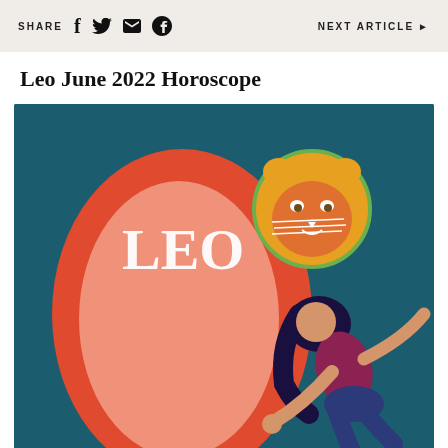SHARE   NEXT ARTICLE ▶
Leo June 2022 Horoscope
[Figure (illustration): Illustrated image for Leo horoscope: dark teal background with a large red-orange oval shape on the left, white text 'LEO' across it, a cartoon golden lion head with green circle outline at top right, and a woman with dark hair in burgundy top and blue shorts leaning/pushing against the oval shape.]